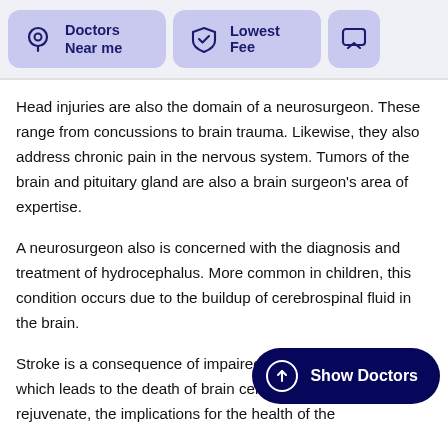[Figure (infographic): Navigation bar with three cards: 'Doctors Near me' with location pin icon, 'Lowest Fee' with shield/check icon, and a partially visible chat/message icon card, all on a light purple background.]
Head injuries are also the domain of a neurosurgeon. These range from concussions to brain trauma. Likewise, they also address chronic pain in the nervous system. Tumors of the brain and pituitary gland are also a brain surgeon's area of expertise.
A neurosurgeon also is concerned with the diagnosis and treatment of hydrocephalus. More common in children, this condition occurs due to the buildup of cerebrospinal fluid in the brain.
Stroke is a consequence of impaired blood flow in the brain, which leads to the death of brain cells. As these cells do not rejuvenate, the implications for the health of the
[Figure (other): Dark navy blue pill-shaped button with an upward arrow in a circle icon and text 'Show Doctors']